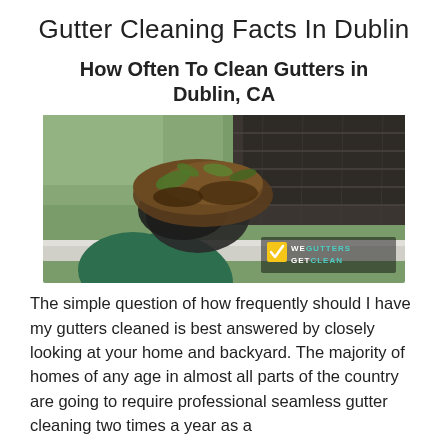Gutter Cleaning Facts In Dublin
How Often To Clean Gutters in Dublin, CA
[Figure (photo): A gloved hand removing wet leaves and debris from a gutter attached to a shingled roof, with trees visible in the background. A watermark reads 'WE GUTTERS GET CLEAN' with a checkmark logo.]
The simple question of how frequently should I have my gutters cleaned is best answered by closely looking at your home and backyard. The majority of homes of any age in almost all parts of the country are going to require professional seamless gutter cleaning two times a year as a